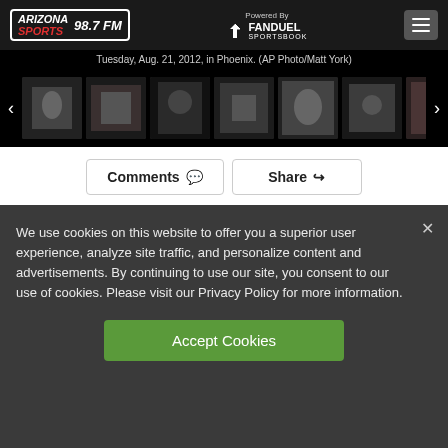Arizona Sports 98.7 FM — Powered By FanDuel Sportsbook
Tuesday, Aug. 21, 2012, in Phoenix. (AP Photo/Matt York)
[Figure (photo): Baseball photo thumbnail gallery with 7 thumbnails of players and navigation arrows]
Comments  Share
We use cookies on this website to offer you a superior user experience, analyze site traffic, and personalize content and advertisements. By continuing to use our site, you consent to our use of cookies. Please visit our Privacy Policy for more information.
Accept Cookies